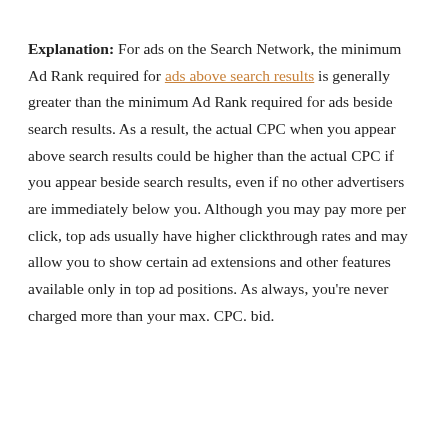Explanation: For ads on the Search Network, the minimum Ad Rank required for ads above search results is generally greater than the minimum Ad Rank required for ads beside search results. As a result, the actual CPC when you appear above search results could be higher than the actual CPC if you appear beside search results, even if no other advertisers are immediately below you. Although you may pay more per click, top ads usually have higher clickthrough rates and may allow you to show certain ad extensions and other features available only in top ad positions. As always, you're never charged more than your max. CPC. bid.